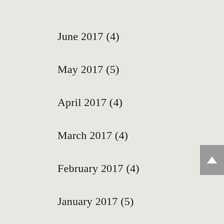June 2017 (4)
May 2017 (5)
April 2017 (4)
March 2017 (4)
February 2017 (4)
January 2017 (5)
December 2016 (4)